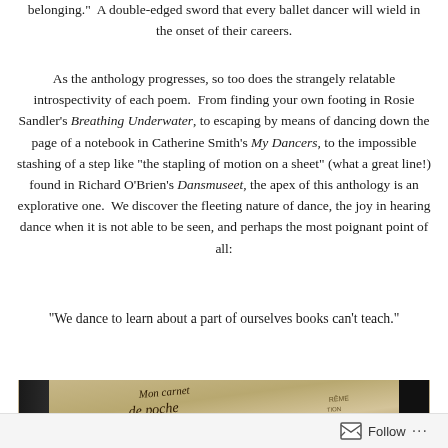belonging." A double-edged sword that every ballet dancer will wield in the onset of their careers.
As the anthology progresses, so too does the strangely relatable introspectivity of each poem. From finding your own footing in Rosie Sandler's Breathing Underwater, to escaping by means of dancing down the page of a notebook in Catherine Smith's My Dancers, to the impossible stashing of a step like "the stapling of motion on a sheet" (what a great line!) found in Richard O'Brien's Dansmuseet, the apex of this anthology is an explorative one. We discover the fleeting nature of dance, the joy in hearing dance when it is not able to be seen, and perhaps the most poignant point of all:
“We dance to learn about a part of ourselves books can’t teach.”
[Figure (photo): Photo of a book or journal with handwritten French text, appearing to show 'Mon carnet de poche' on a beige/tan cover]
Follow